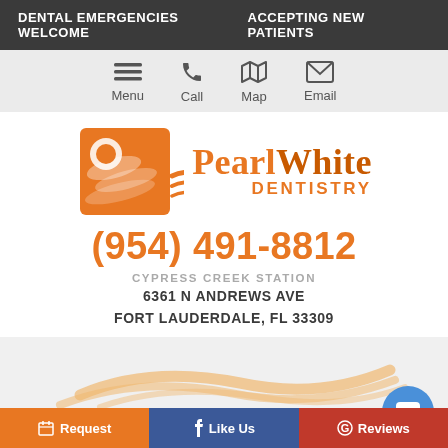DENTAL EMERGENCIES WELCOME   ACCEPTING NEW PATIENTS
[Figure (infographic): Navigation icons row: Menu (hamburger), Call (phone), Map (map icon), Email (envelope)]
[Figure (logo): Pearl White Dentistry logo with orange square graphic and wave shapes, text PEARLWHITE DENTISTRY in orange]
(954) 491-8812
CYPRESS CREEK STATION
6361 N ANDREWS AVE
FORT LAUDERDALE, FL 33309
[Figure (illustration): Decorative orange wave lines on light gray background, blue chat bubble icon bottom right]
Request   Like Us   Reviews